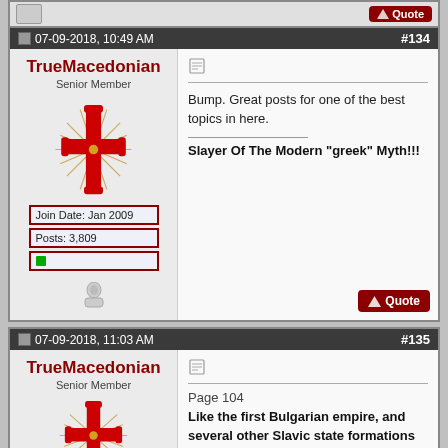Top strip with quote button
07-09-2018, 10:49 AM  #134
TrueMacedonian
Senior Member
Join Date: Jan 2009
Posts: 3,809
Bump. Great posts for one of the best topics in here.

Slayer Of The Modern "greek" Myth!!!
07-09-2018, 11:03 AM  #135
TrueMacedonian
Senior Member
Page 104
Like the first Bulgarian empire, and several other Slavic state formations as well, the second Bulgarian empire was something of an ethnic amalgam. The Slavic